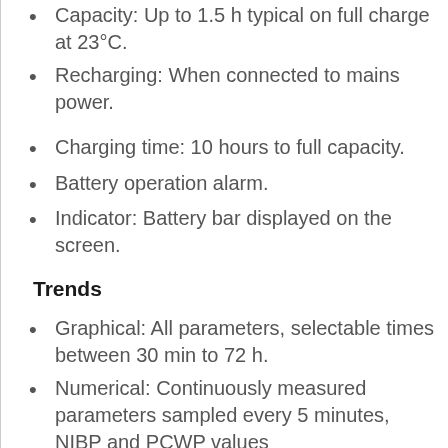Capacity: Up to 1.5 h typical on full charge at 23°C.
Recharging: When connected to mains power.
Charging time: 10 hours to full capacity.
Battery operation alarm.
Indicator: Battery bar displayed on the screen.
Trends
Graphical: All parameters, selectable times between 30 min to 72 h.
Numerical: Continuously measured parameters sampled every 5 minutes, NIBP and PCWP values